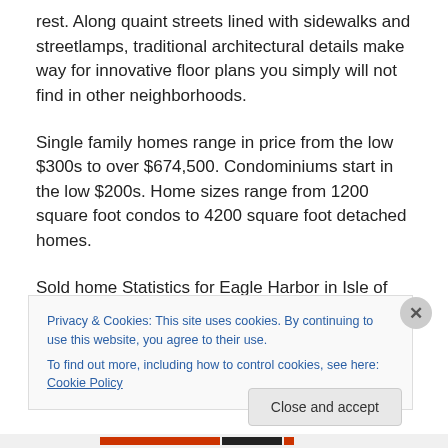rest. Along quaint streets lined with sidewalks and streetlamps, traditional architectural details make way for innovative floor plans you simply will not find in other neighborhoods.
Single family homes range in price from the low $300s to over $674,500. Condominiums start in the low $200s. Home sizes range from 1200 square foot condos to 4200 square foot detached homes.
Sold home Statistics for Eagle Harbor in Isle of Wight: The
price range last 12 months for detached homes in Eagle
Privacy & Cookies: This site uses cookies. By continuing to use this website, you agree to their use.
To find out more, including how to control cookies, see here: Cookie Policy